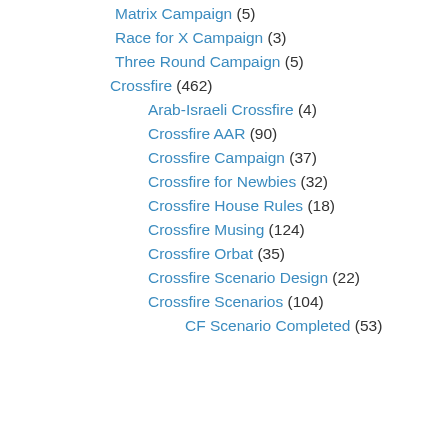Matrix Campaign (5)
Race for X Campaign (3)
Three Round Campaign (5)
Crossfire (462)
Arab-Israeli Crossfire (4)
Crossfire AAR (90)
Crossfire Campaign (37)
Crossfire for Newbies (32)
Crossfire House Rules (18)
Crossfire Musing (124)
Crossfire Orbat (35)
Crossfire Scenario Design (22)
Crossfire Scenarios (104)
CF Scenario Completed (53)